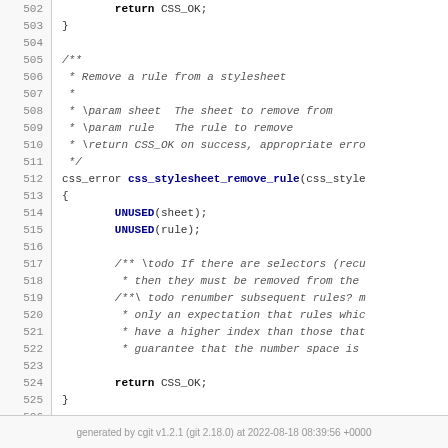Source code listing lines 502-527, showing css_stylesheet_remove_rule function with UNUSED macros and comments about selectors and rule numbering, ending with return CSS_OK
generated by cgit v1.2.1 (git 2.18.0) at 2022-08-18 08:39:56 +0000